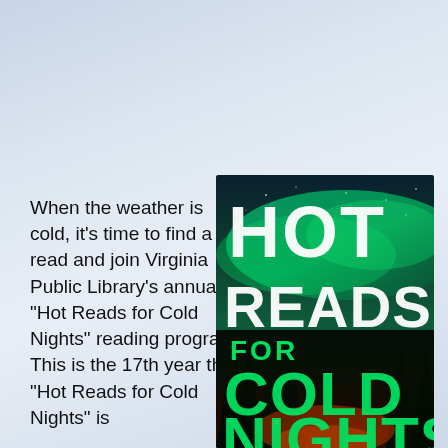[Figure (photo): Background image of a cloudy pale blue-grey sky fading into the page background]
When the weather is cold, it's time to find a hot read and join Virginia Public Library's annual "Hot Reads for Cold Nights" reading program. This is the 17th year that "Hot Reads for Cold Nights" is
[Figure (illustration): Book cover for 'Hot Reads for Cold Nights' featuring green aurora borealis sky with silhouetted trees and bold text HOT READS FOR COLD NIGHTS]